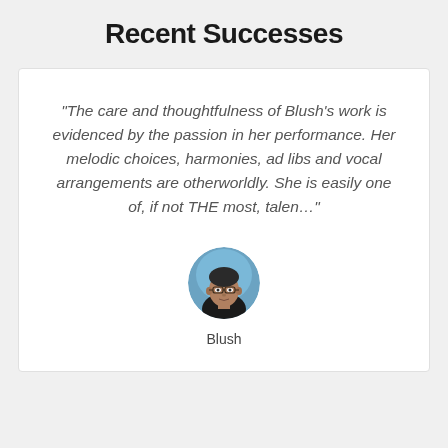Recent Successes
"The care and thoughtfulness of Blush's work is evidenced by the passion in her performance. Her melodic choices, harmonies, ad libs and vocal arrangements are otherworldly. She is easily one of, if not THE most, talen..."
[Figure (photo): Circular avatar photo of a man wearing glasses]
Blush